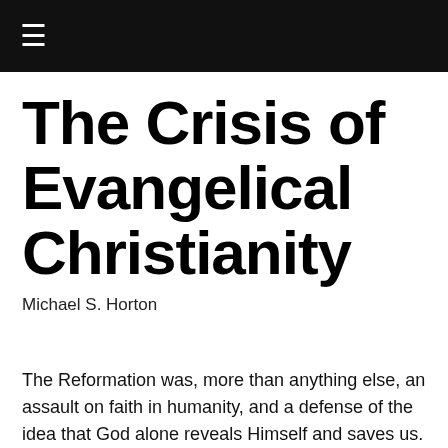≡
The Crisis of Evangelical Christianity
Michael S. Horton
The Reformation was, more than anything else, an assault on faith in humanity, and a defense of the idea that God alone reveals Himself and saves us.
In May, 1989, a conference jointly sponsored by the National Association